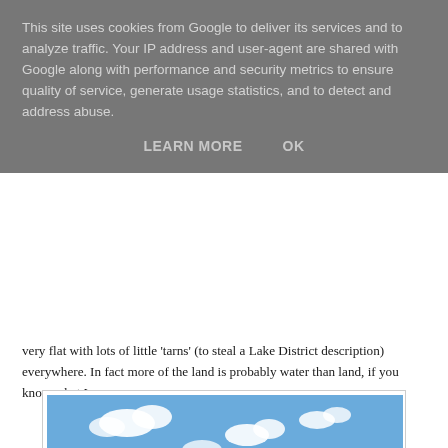This site uses cookies from Google to deliver its services and to analyze traffic. Your IP address and user-agent are shared with Google along with performance and security metrics to ensure quality of service, generate usage statistics, and to detect and address abuse.
LEARN MORE    OK
very flat with lots of little 'tarns' (to steal a Lake District description) everywhere. In fact more of the land is probably water than land, if you know what I mean.
[Figure (photo): Outdoor landscape photograph showing a flat, marshy terrain with small water bodies (tarns), green grassy land, a white signpost or marker in the foreground, and distant low hills on the horizon under a blue sky with scattered white clouds.]